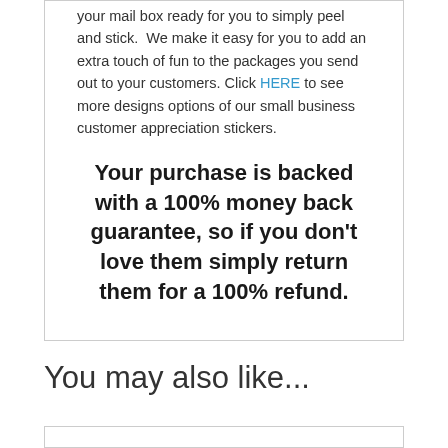your mail box ready for you to simply peel and stick.  We make it easy for you to add an extra touch of fun to the packages you send out to your customers. Click HERE to see more designs options of our small business customer appreciation stickers.
Your purchase is backed with a 100% money back guarantee, so if you don't love them simply return them for a 100% refund.
You may also like...